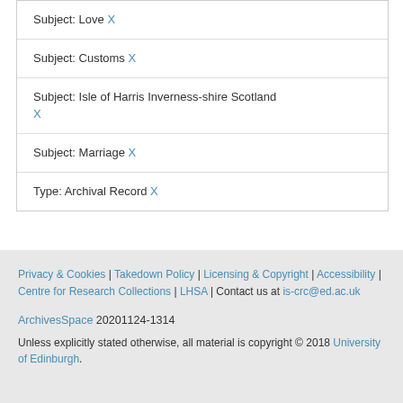Subject: Love X
Subject: Customs X
Subject: Isle of Harris Inverness-shire Scotland X
Subject: Marriage X
Type: Archival Record X
Privacy & Cookies | Takedown Policy | Licensing & Copyright | Accessibility | Centre for Research Collections | LHSA | Contact us at is-crc@ed.ac.uk

ArchivesSpace 20201124-1314

Unless explicitly stated otherwise, all material is copyright © 2018 University of Edinburgh.